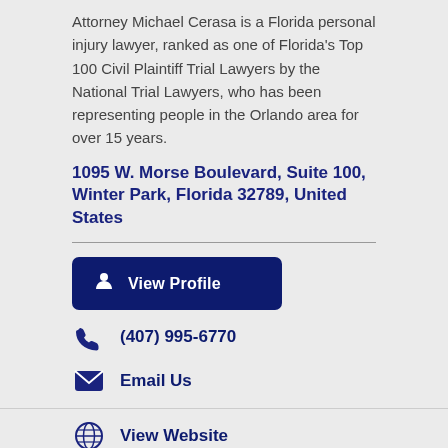Attorney Michael Cerasa is a Florida personal injury lawyer, ranked as one of Florida’s Top 100 Civil Plaintiff Trial Lawyers by the National Trial Lawyers, who has been representing people in the Orlando area for over 15 years.
1095 W. Morse Boulevard, Suite 100, Winter Park, Florida 32789, United States
View Profile
(407) 995-6770
Email Us
View Website